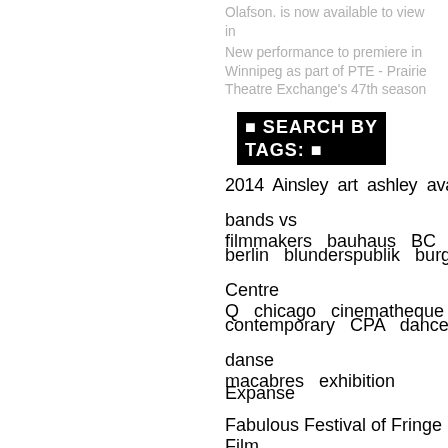Olafson. is now available to view in
New performance to premiere in Winnipeg as part of PTE - Prairie Theatre Exchange's 47th season
SEARCH BY TAGS:
2014  Ainsley  art  ashley  avatar
bands vs filmmakers   bauhaus   BC
berlin   blunderspublik   burgandy
Centre Q   chicago   cinematheque
contemporary   CPA   dance   danse
danse macabres   exhibition
Expanse
Fabulous Festival of Fringe Film
Festival   france   freya   Freya Olafson
Hillyard   Hong Kong Exile